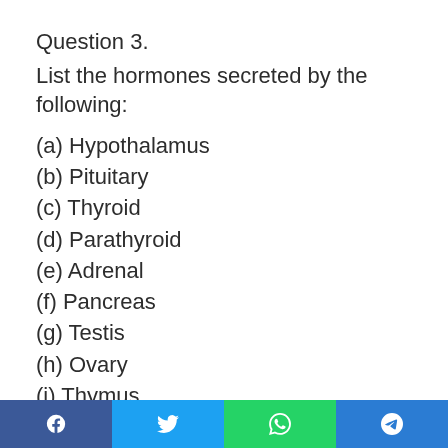Question 3.
List the hormones secreted by the following:
(a) Hypothalamus
(b) Pituitary
(c) Thyroid
(d) Parathyroid
(e) Adrenal
(f) Pancreas
(g) Testis
(h) Ovary
(i) Thymus
(j) Atrium
Social share buttons: Facebook, Twitter, WhatsApp, Telegram